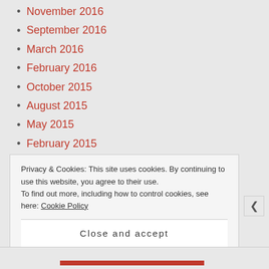November 2016
September 2016
March 2016
February 2016
October 2015
August 2015
May 2015
February 2015
December 2014
November 2014
October 2014
September 2014
Privacy & Cookies: This site uses cookies. By continuing to use this website, you agree to their use. To find out more, including how to control cookies, see here: Cookie Policy
Close and accept